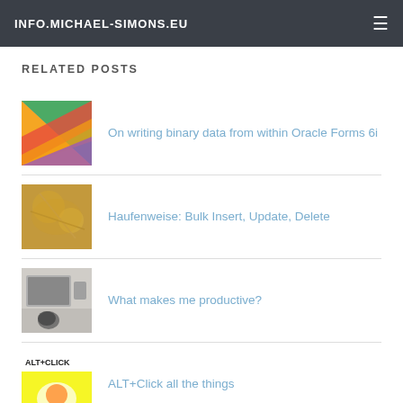INFO.MICHAEL-SIMONS.EU
RELATED POSTS
On writing binary data from within Oracle Forms 6i
Haufenweise: Bulk Insert, Update, Delete
What makes me productive?
ALT+Click all the things